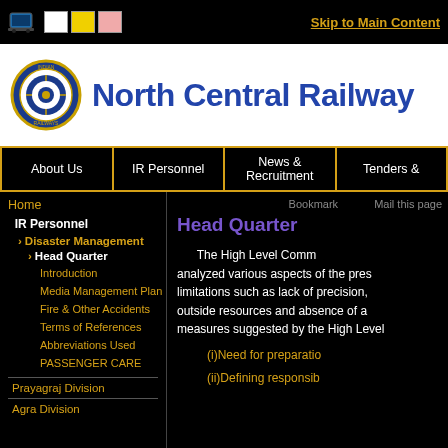Skip to Main Content
[Figure (logo): North Central Railway logo with Indian Railways emblem and banner]
About Us | IR Personnel | News & Recruitment | Tenders &
Home
IR Personnel
Disaster Management
Head Quarter
Introduction
Media Management Plan
Fire & Other Accidents
Terms of References
Abbreviations Used
PASSENGER CARE
Prayagraj Division
Agra Division
Head Quarter
The High Level Comm analyzed various aspects of the pres limitations such as lack of precision, outside resources and absence of a measures suggested by the High Level
(i)Need for preparatio
(ii)Defining responsib